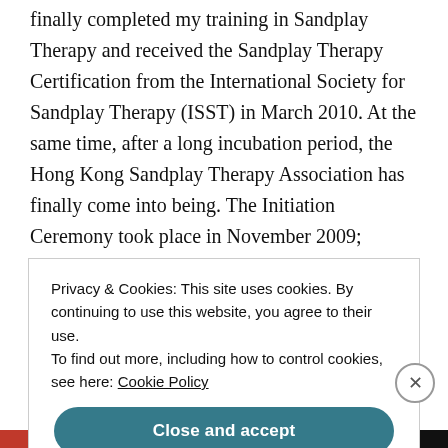finally completed my training in Sandplay Therapy and received the Sandplay Therapy Certification from the International Society for Sandplay Therapy (ISST) in March 2010. At the same time, after a long incubation period, the Hong Kong Sandplay Therapy Association has finally come into being. The Initiation Ceremony took place in November 2009; application for registration started immediately thereafter. In August 2010, we received the Certificate of Registration as a Society and we had our first preparatory committee
Privacy & Cookies: This site uses cookies. By continuing to use this website, you agree to their use.
To find out more, including how to control cookies, see here: Cookie Policy
Close and accept